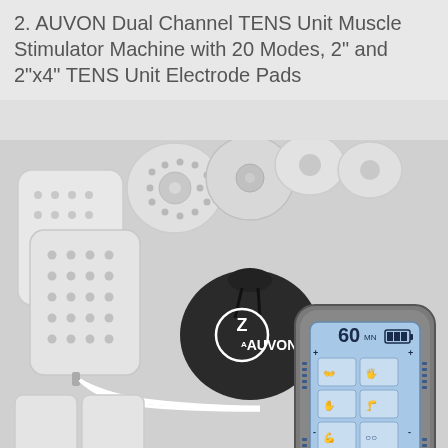2. AUVON Dual Channel TENS Unit Muscle Stimulator Machine with 20 Modes, 2" and 2"x4" TENS Unit Electrode Pads
[Figure (photo): Product photo of AUVON Dual Channel TENS Unit Muscle Stimulator Machine showing electrode pads of various sizes (circular and rectangular), a black drawstring pouch with AUVON logo, connecting cables, and the TENS unit device with blue LCD screen showing 20 therapy modes, timer showing 60 MN, and AUVON branding at bottom]